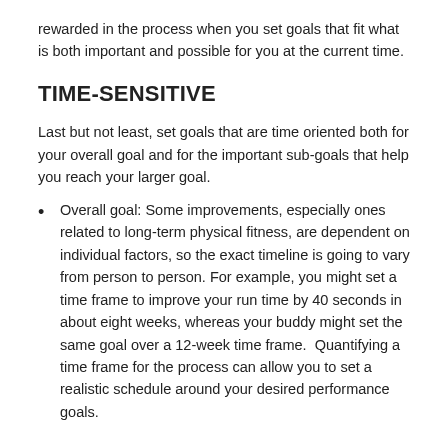rewarded in the process when you set goals that fit what is both important and possible for you at the current time.
TIME-SENSITIVE
Last but not least, set goals that are time oriented both for your overall goal and for the important sub-goals that help you reach your larger goal.
Overall goal: Some improvements, especially ones related to long-term physical fitness, are dependent on individual factors, so the exact timeline is going to vary from person to person. For example, you might set a time frame to improve your run time by 40 seconds in about eight weeks, whereas your buddy might set the same goal over a 12-week time frame.  Quantifying a time frame for the process can allow you to set a realistic schedule around your desired performance goals.